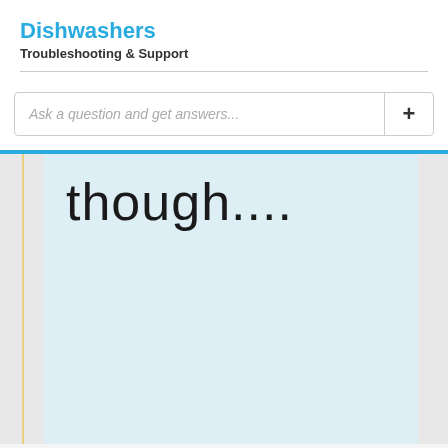Dishwashers
Troubleshooting & Support
Ask a question and get answers...
though....